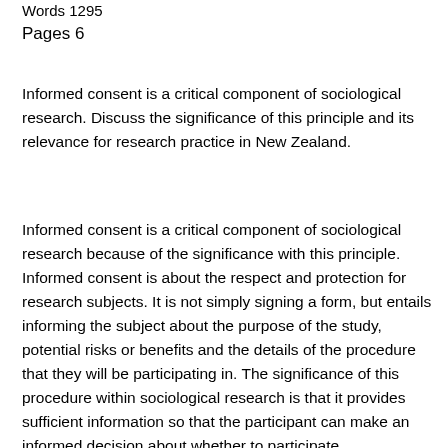Words 1295
Pages 6
Informed consent is a critical component of sociological research. Discuss the significance of this principle and its relevance for research practice in New Zealand.
Informed consent is a critical component of sociological research because of the significance with this principle. Informed consent is about the respect and protection for research subjects. It is not simply signing a form, but entails informing the subject about the purpose of the study, potential risks or benefits and the details of the procedure that they will be participating in. The significance of this procedure within sociological research is that it provides sufficient information so that the participant can make an informed decision about whether to participate.